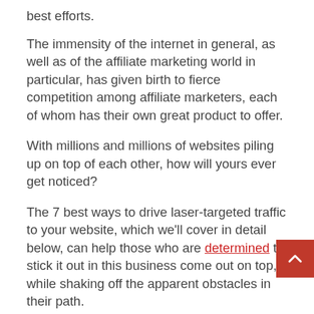best efforts.
The immensity of the internet in general, as well as of the affiliate marketing world in particular, has given birth to fierce competition among affiliate marketers, each of whom has their own great product to offer.
With millions and millions of websites piling up on top of each other, how will yours ever get noticed?
The 7 best ways to drive laser-targeted traffic to your website, which we'll cover in detail below, can help those who are determined to stick it out in this business come out on top, while shaking off the apparent obstacles in their path.
STEP ONE: USE SEARCH ENGINES
The first step in driving traffic to one?s website is to rely on search engines. Because they are popular for driving fr'ee targeted traffic, they should never be ignored by any means.
Having top search engine rankings is vital in building